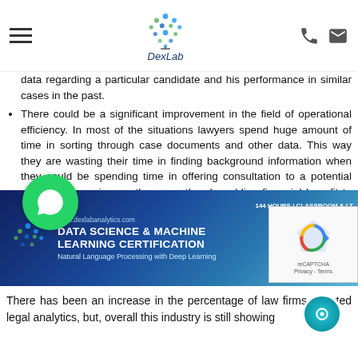DexLab
data regarding a particular candidate and his performance in similar cases in the past.
There could be a significant improvement in the field of operational efficiency. In most of the situations lawyers spend huge amount of time in sorting through case documents and other data. This way they are wasting their time in finding background information when they could be spending time in offering consultation to a potential client and securing another case thereby adding financial benefit to the firm. The task of data analysis should better be handled by the legal analytics software.
At the end of the day a law firm is just another business, so, to ensure that the business operations of the firm are being managed with efficiency, legal analytics software could come in handy. Whether it's budgeting or, recruiting or retaining old staff valuable insight could be gained, which could be channeled to rake in more profit.
[Figure (infographic): Data Science & Machine Learning Certification banner with DexLab logo, subtitle 'Natural Language Processing with Deep Learning', and right side text '144 HOURS | CLASSROOM & LT HANDS-ON | INSTRU']
There has been an increase in the percentage of law firms adopted legal analytics, but, overall this industry is still showing